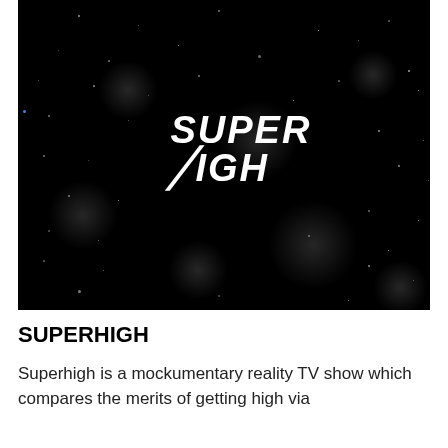[Figure (screenshot): Dark space/galaxy background image with scattered stars and glowing points of light, featuring the 'SUPER HIGH' logo in white bold italic text in the center]
SUPERHIGH
Superhigh is a mockumentary reality TV show which compares the merits of getting high via